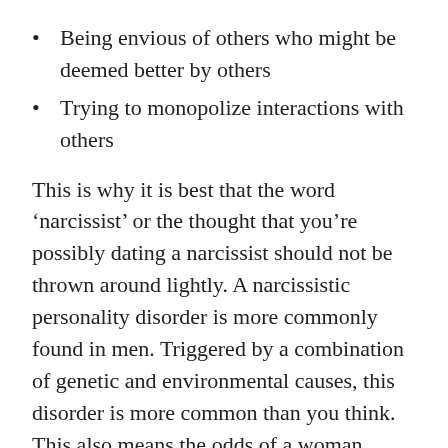Being envious of others who might be deemed better by others
Trying to monopolize interactions with others
This is why it is best that the word ‘narcissist’ or the thought that you’re possibly dating a narcissist should not be thrown around lightly. A narcissistic personality disorder is more commonly found in men. Triggered by a combination of genetic and environmental causes, this disorder is more common than you think. This also means the odds of a woman ending up with a narcissistic husband or partner are significant.